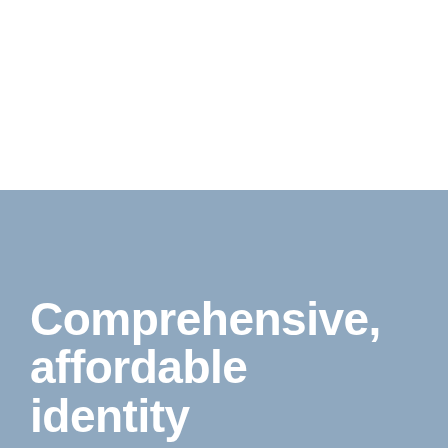[Figure (other): White upper half of a split cover page with a blue-grey lower section]
Comprehensive, affordable identity